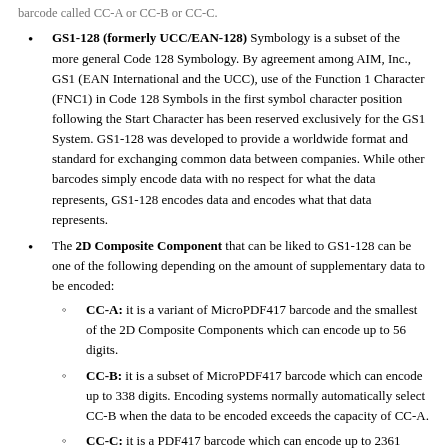GS1-128 (formerly UCC/EAN-128) Symbology is a subset of the more general Code 128 Symbology. By agreement among AIM, Inc., GS1 (EAN International and the UCC), use of the Function 1 Character (FNC1) in Code 128 Symbols in the first symbol character position following the Start Character has been reserved exclusively for the GS1 System. GS1-128 was developed to provide a worldwide format and standard for exchanging common data between companies. While other barcodes simply encode data with no respect for what the data represents, GS1-128 encodes data and encodes what that data represents.
The 2D Composite Component that can be liked to GS1-128 can be one of the following depending on the amount of supplementary data to be encoded:
CC-A: it is a variant of MicroPDF417 barcode and the smallest of the 2D Composite Components which can encode up to 56 digits.
CC-B: it is a subset of MicroPDF417 barcode which can encode up to 338 digits. Encoding systems normally automatically select CC-B when the data to be encoded exceeds the capacity of CC-A.
CC-C: it is a PDF417 barcode which can encode up to 2361 digits(the greatest data capacity of the Composite Symbols).